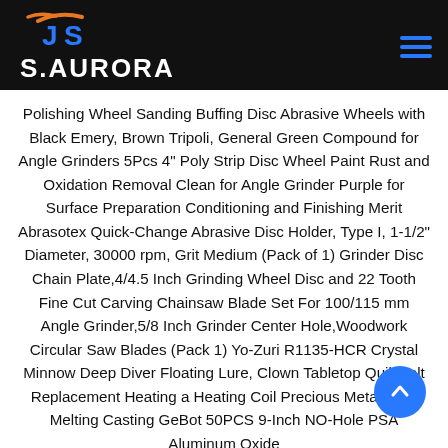[Figure (logo): S.AURORA logo with stylized JS icon in blue and orange on black background, with hamburger menu icon in blue on the right]
Polishing Wheel Sanding Buffing Disc Abrasive Wheels with Black Emery, Brown Tripoli, General Green Compound for Angle Grinders 5Pcs 4" Poly Strip Disc Wheel Paint Rust and Oxidation Removal Clean for Angle Grinder Purple for Surface Preparation Conditioning and Finishing Merit Abrasotex Quick-Change Abrasive Disc Holder, Type I, 1-1/2" Diameter, 30000 rpm, Grit Medium (Pack of 1) Grinder Disc Chain Plate,4/4.5 Inch Grinding Wheel Disc and 22 Tooth Fine Cut Carving Chainsaw Blade Set For 100/115 mm Angle Grinder,5/8 Inch Grinder Center Hole,Woodwork Circular Saw Blades (Pack 1) Yo-Zuri R1135-HCR Crystal Minnow Deep Diver Floating Lure, Clown Tabletop QuikMelt Replacement Heating a Heating Coil Precious Metal Gold Melting Casting GeBot 50PCS 9-Inch NO-Hole PSA Aluminum Oxide